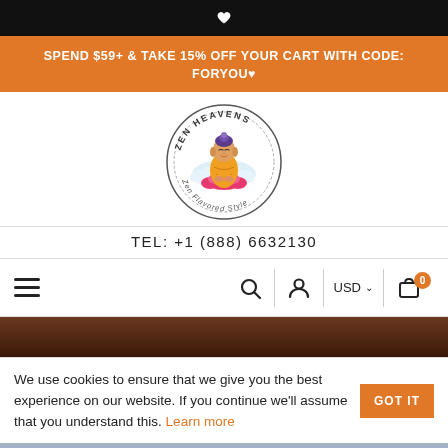[Figure (screenshot): Black top navigation bar with a white heart icon centered]
SPEND $59+ & TAKE 15% OFF YOUR CART WITH CODE: FORYOU♥
[Figure (logo): Zen Heavens circular logo with a seated Buddha figure in orange robes on a pink lotus flower, text 'ZEN HEAVENS' around top arc and 'Zen Flavored Style' around bottom arc]
TEL: +1 (888) 6632130
[Figure (screenshot): Navigation bar with hamburger menu icon on left, search icon, user icon, USD currency selector, and shopping cart with orange badge showing 0]
[Figure (photo): Dark brown/chocolate colored background image strip]
We use cookies to ensure that we give you the best experience on our website. If you continue we'll assume that you understand this. Learn more
[Figure (photo): Bottom portion of a photo showing blue/grey tones, partially visible product image]